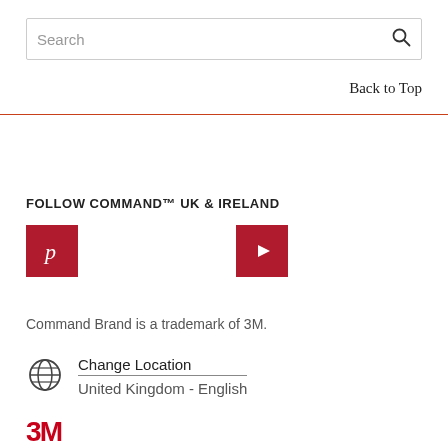Search
Back to Top
FOLLOW COMMAND™ UK & IRELAND
[Figure (logo): Pinterest logo icon (white P on red background square)]
[Figure (logo): YouTube logo icon (white play button on red background square)]
Command Brand is a trademark of 3M.
Change Location
United Kingdom - English
[Figure (logo): 3M company logo in red]